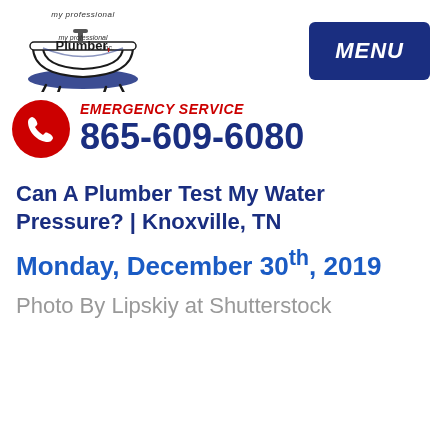[Figure (logo): My Professional Plumber Inc. logo with bathtub illustration]
MENU
[Figure (infographic): Emergency service contact block with red phone icon circle, red italic EMERGENCY SERVICE label, and blue phone number 865-609-6080]
Can A Plumber Test My Water Pressure? | Knoxville, TN
Monday, December 30th, 2019
Photo By Lipskiy at Shutterstock